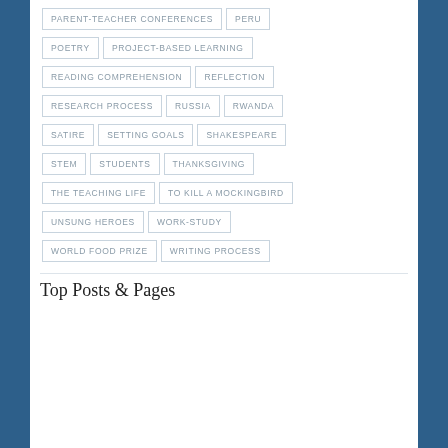PARENT-TEACHER CONFERENCES
PERU
POETRY
PROJECT-BASED LEARNING
READING COMPREHENSION
REFLECTION
RESEARCH PROCESS
RUSSIA
RWANDA
SATIRE
SETTING GOALS
SHAKESPEARE
STEM
STUDENTS
THANKSGIVING
THE TEACHING LIFE
TO KILL A MOCKINGBIRD
UNSUNG HEROES
WORK-STUDY
WORLD FOOD PRIZE
WRITING PROCESS
Top Posts & Pages